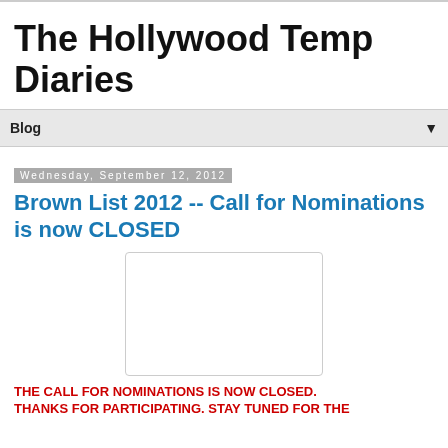The Hollywood Temp Diaries
Blog
Wednesday, September 12, 2012
Brown List 2012 -- Call for Nominations is now CLOSED
[Figure (other): Blank white image placeholder with light border]
THE CALL FOR NOMINATIONS IS NOW CLOSED. THANKS FOR PARTICIPATING. STAY TUNED FOR THE